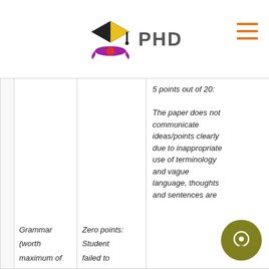[Figure (logo): PHD essay writing service logo with graduation cap icon and text PHD]
|  | Grammar (worth maximum of | Zero points: Student failed to | 5 points out of 20: The paper does not communicate ideas/points clearly due to inappropriate use of terminology and vague language, thoughts and sentences are |
| --- | --- | --- | --- |
|  |  |  |  |